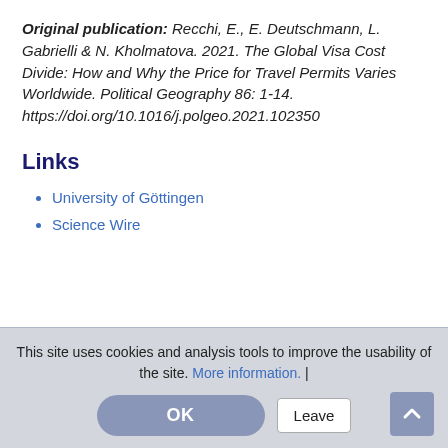Original publication: Recchi, E., E. Deutschmann, L. Gabrielli & N. Kholmatova. 2021. The Global Visa Cost Divide: How and Why the Price for Travel Permits Varies Worldwide. Political Geography 86: 1-14. https://doi.org/10.1016/j.polgeo.2021.102350
Links
University of Göttingen
Science Wire
This site uses cookies and analysis tools to improve the usability of the site. More information. |